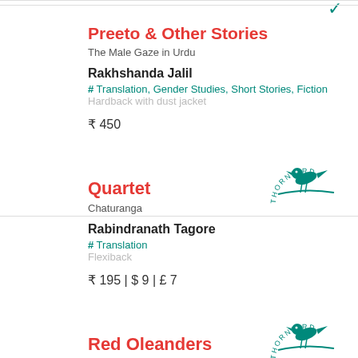Preeto & Other Stories
The Male Gaze in Urdu
Rakhshanda Jalil
# Translation, Gender Studies, Short Stories, Fiction
Hardback with dust jacket
₹ 450
Quartet
Chaturanga
Rabindranath Tagore
# Translation
Flexiback
₹ 195 | $ 9 | £ 7
Red Oleanders